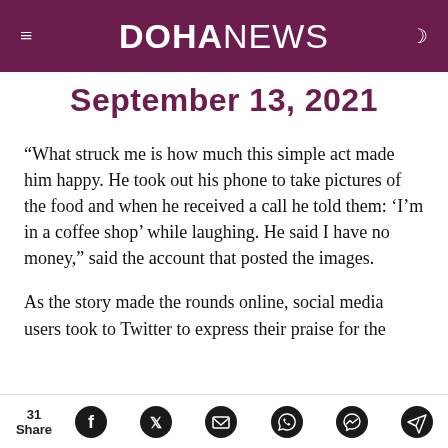DOHANEWS
September 13, 2021
“What struck me is how much this simple act made him happy. He took out his phone to take pictures of the food and when he received a call he told them: ‘I’m in a coffee shop’ while laughing. He said I have no money,” said the account that posted the images.
As the story made the rounds online, social media users took to Twitter to express their praise for the
31 Share